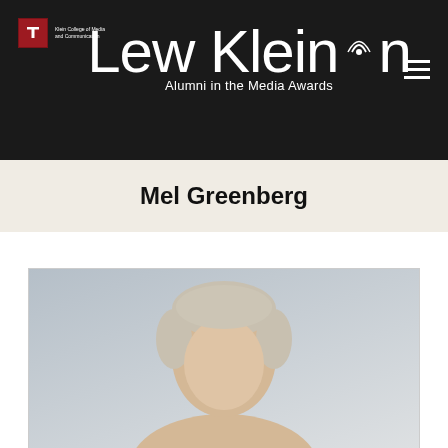Lew Klein Alumni in the Media Awards
Mel Greenberg
[Figure (photo): Head and shoulders portrait photo of Mel Greenberg, an older man with gray/white hair, against a light gray background]